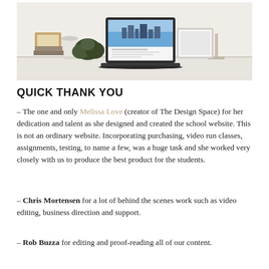[Figure (photo): A desk scene with a laptop showing a website, a lamp, a picture frame, a small vase, and decorative items on a white background.]
QUICK THANK YOU
– The one and only Melissa Love (creator of The Design Space) for her dedication and talent as she designed and created the school website. This is not an ordinary website. Incorporating purchasing, video run classes, assignments, testing, to name a few, was a huge task and she worked very closely with us to produce the best product for the students.
– Chris Mortensen for a lot of behind the scenes work such as video editing, business direction and support.
– Rob Buzza for editing and proof-reading all of our content.